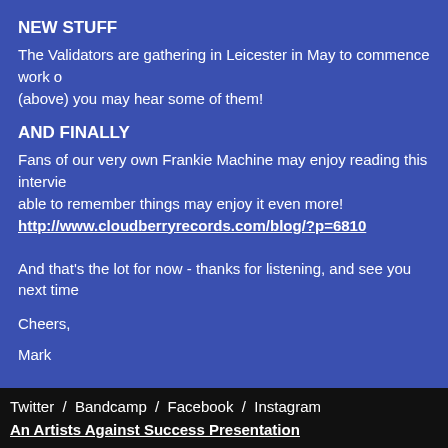NEW STUFF
The Validators are gathering in Leicester in May to commence work o... (above) you may hear some of them!
AND FINALLY
Fans of our very own Frankie Machine may enjoy reading this intervie... able to remember things may enjoy it even more!
http://www.cloudberryrecords.com/blog/?p=6810
And that's the lot for now - thanks for listening, and see you next time
Cheers,
Mark
< issue 166
Twitter  /  Bandcamp  /  Facebook  /  Instagram  An Artists Against Success Presentation